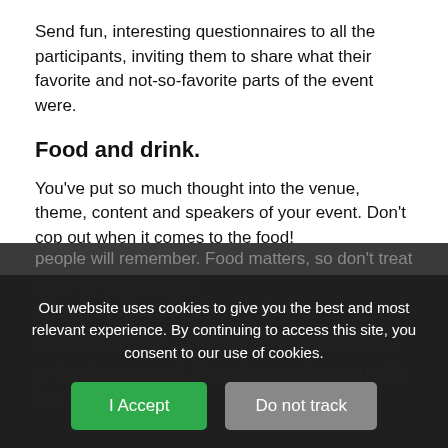Send fun, interesting questionnaires to all the participants, inviting them to share what their favorite and not-so-favorite parts of the event were.
Food and drink.
You've put so much thought into the venue, theme, content and speakers of your event. Don't cop out when it comes to the food!
What's on the buffet tables may seem inconsequential compared to what's on stage. But the truth is if you offer refreshments that go beyond the usual mediocre event fare, people will remember. Food matters, so don't treat it like an afterthought.
Choose the right speakers.
Last but not least, choosing the right speaker will make or break your event. Choosing speakers correctly is not
Our website uses cookies to give you the best and most relevant experience. By continuing to access this site, you consent to our use of cookies.